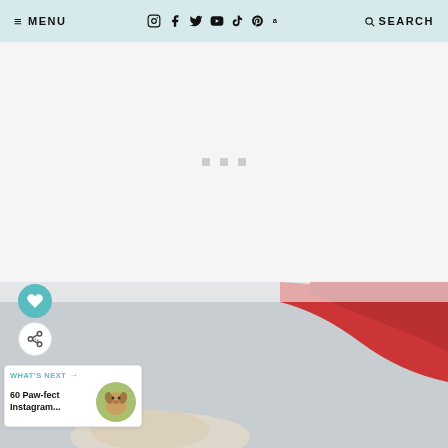≡ MENU  [instagram] [facebook] [twitter] [youtube] [tiktok] [pinterest] [amazon]  🔍 SEARCH
[Figure (other): Advertisement placeholder area with three small grey squares centered on a light grey background]
[Figure (photo): Blurred photo of a dog on a grey sofa with a red pillow in the background. Social sharing buttons (heart and share) overlay the left side. A 'What's Next' card shows '60 Paw-fect Instagram...' with a small circular thumbnail of a dog.]